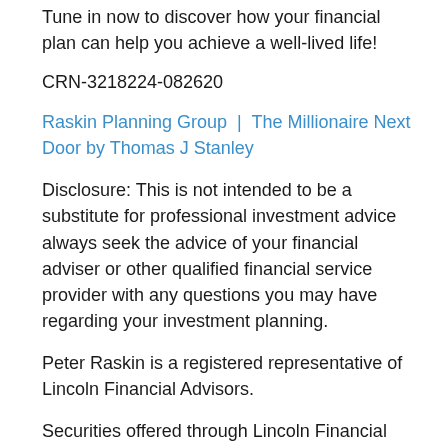Tune in now to discover how your financial plan can help you achieve a well-lived life!
CRN-3218224-082620
Raskin Planning Group  |  The Millionaire Next Door by Thomas J Stanley
Disclosure: This is not intended to be a substitute for professional investment advice always seek the advice of your financial adviser or other qualified financial service provider with any questions you may have regarding your investment planning.
Peter Raskin is a registered representative of Lincoln Financial Advisors.
Securities offered through Lincoln Financial Advisors Corp., a broker/dealer. Member SIPC. Investment advisory services offered through